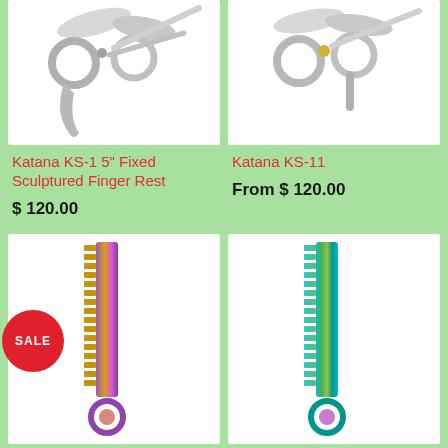[Figure (photo): Silver hair scissors with sculptured finger rest, top portion cropped, white background]
Katana KS-1 5" Fixed Sculptured Finger Rest
$ 120.00
[Figure (photo): Silver hair scissors with handle detail, top portion cropped, white background]
Katana KS-11
From $ 120.00
SALE
[Figure (photo): Purple and gold metallic thinning scissors blade, cropped, white background]
[Figure (photo): Rainbow/holographic thinning scissors blade, cropped, white background]